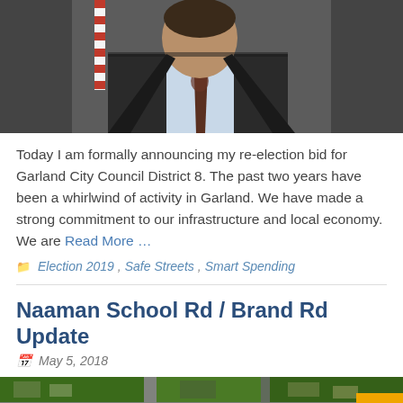[Figure (photo): Portrait photo of a bearded man in a dark suit and tie with an American flag in the background]
Today I am formally announcing my re-election bid for Garland City Council District 8. The past two years have been a whirlwind of activity in Garland. We have made a strong commitment to our infrastructure and local economy. We are Read More ...
Election 2019, Safe Streets, Smart Spending
Naaman School Rd / Brand Rd Update
May 5, 2018
[Figure (photo): Aerial view of a road intersection and surrounding neighborhood]